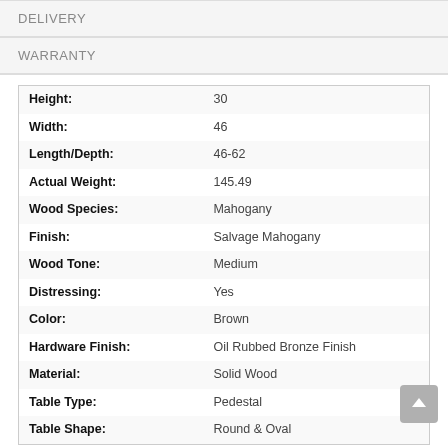DELIVERY
WARRANTY
| Attribute | Value |
| --- | --- |
| Height: | 30 |
| Width: | 46 |
| Length/Depth: | 46-62 |
| Actual Weight: | 145.49 |
| Wood Species: | Mahogany |
| Finish: | Salvage Mahogany |
| Wood Tone: | Medium |
| Distressing: | Yes |
| Color: | Brown |
| Hardware Finish: | Oil Rubbed Bronze Finish |
| Material: | Solid Wood |
| Table Type: | Pedestal |
| Table Shape: | Round & Oval |
QUICK SPECS